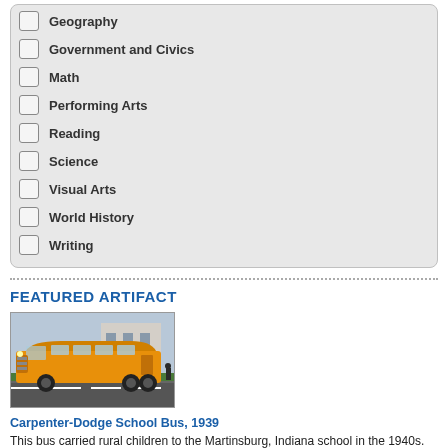Geography
Government and Civics
Math
Performing Arts
Reading
Science
Visual Arts
World History
Writing
FEATURED ARTIFACT
[Figure (photo): A vintage yellow school bus (Carpenter-Dodge, 1939) parked on a road with a building in the background]
Carpenter-Dodge School Bus, 1939
This bus carried rural children to the Martinsburg, Indiana school in the 1940s.